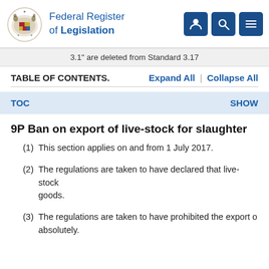Federal Register of Legislation
3.1" are deleted from Standard 3.17
TABLE OF CONTENTS.   Expand All | Collapse All
TOC   SHOW
9P  Ban on export of live-stock for slaughter
(1)  This section applies on and from 1 July 2017.
(2)  The regulations are taken to have declared that live-stock goods.
(3)  The regulations are taken to have prohibited the export o absolutely.